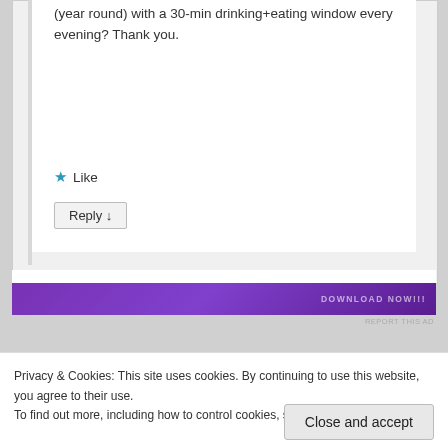(year round) with a 30-min drinking+eating window every evening? Thank you.
★ Like
Reply ↓
[Figure (other): Purple advertisement banner with partially visible text]
REPORT THIS AD
Privacy & Cookies: This site uses cookies. By continuing to use this website, you agree to their use.
To find out more, including how to control cookies, see here: Cookie Policy
Close and accept